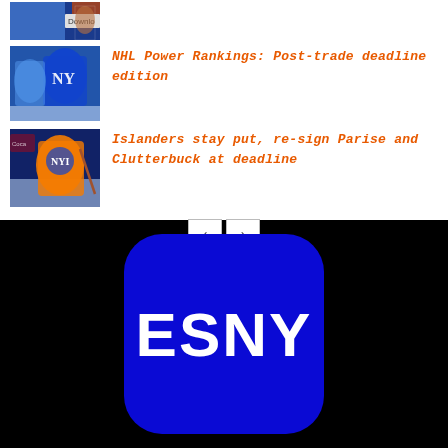[Figure (photo): Partial view of a hockey-related image with blue and a 'Download' label visible, cropped at top]
[Figure (photo): Two NHL hockey players in action, one in blue Rangers jersey]
NHL Power Rankings: Post-trade deadline edition
[Figure (photo): An Islanders player in orange and blue uniform skating with a hockey stick]
Islanders stay put, re-sign Parise and Clutterbuck at deadline
[Figure (logo): ESNY app icon — dark blue rounded square with white bold text 'ESNY' on black background]